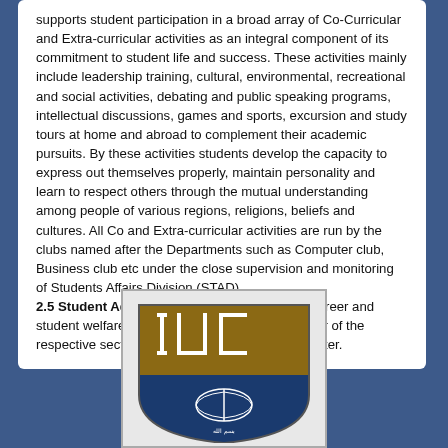supports student participation in a broad array of Co-Curricular and Extra-curricular activities as an integral component of its commitment to student life and success. These activities mainly include leadership training, cultural, environmental, recreational and social activities, debating and public speaking programs, intellectual discussions, games and sports, excursion and study tours at home and abroad to complement their academic pursuits. By these activities students develop the capacity to express out themselves properly, maintain personality and learn to respect others through the mutual understanding among people of various regions, religions, beliefs and cultures. All Co and Extra-curricular activities are run by the clubs named after the Departments such as Computer club, Business club etc under the close supervision and monitoring of Students Affairs Division (STAD).
2.5 Student Advisor: IIUC provides academic career and student welfare counseling by the Student Advisor of the respective section of students under each Semester.
[Figure (logo): IIUC university logo/crest showing letters IUC on a brown and blue shield-shaped badge]